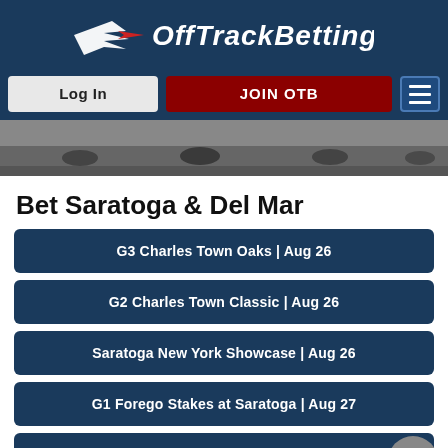[Figure (logo): OffTrackBetting logo with horse icon and brand name in white italic text on dark navy background]
[Figure (screenshot): Navigation bar with Log In button, JOIN OTB button in dark red, and hamburger menu icon]
[Figure (photo): Black and white photo of horse racing scene at bottom of header area]
Bet Saratoga & Del Mar
G3 Charles Town Oaks | Aug 26
G2 Charles Town Classic | Aug 26
Saratoga New York Showcase | Aug 26
G1 Forego Stakes at Saratoga | Aug 27
G1 Personal Ensign at Saratoga | Aug 27
G1 Sword Dancer at Saratoga | Aug 27